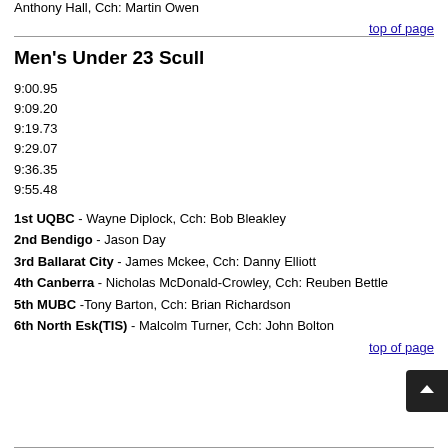Anthony Hall, Cch: Martin Owen
top of page
Men's Under 23 Scull
9:00.95
9:09.20
9:19.73
9:29.07
9:36.35
9:55.48
1st UQBC - Wayne Diplock, Cch: Bob Bleakley
2nd Bendigo - Jason Day
3rd Ballarat City - James Mckee, Cch: Danny Elliott
4th Canberra - Nicholas McDonald-Crowley, Cch: Reuben Bettle
5th MUBC -Tony Barton, Cch: Brian Richardson
6th North Esk(TIS) - Malcolm Turner, Cch: John Bolton
top of page